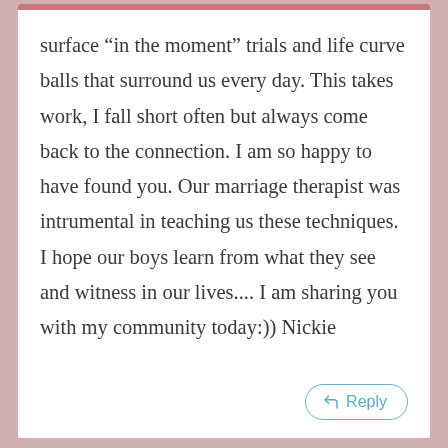surface “in the moment” trials and life curve balls that surround us every day. This takes work, I fall short often but always come back to the connection. I am so happy to have found you. Our marriage therapist was intrumental in teaching us these techniques. I hope our boys learn from what they see and witness in our lives.... I am sharing you with my community today:)) Nickie